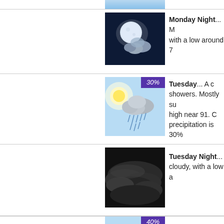[Figure (photo): Partial top strip of a daytime sky weather icon (clipped at top of page)]
[Figure (photo): Monday Night weather icon: full moon partially covered by clouds against dark night sky]
Monday Night... M with a low around 7
[Figure (photo): Tuesday weather icon: sun behind rain cloud with precipitation badge showing 30%]
Tuesday... A c showers. Mostly su high near 91. C precipitation is 30%
[Figure (photo): Tuesday Night weather icon: dark stormy clouds]
Tuesday Night... cloudy, with a low a
[Figure (photo): Bottom partial weather icon with 40% precipitation badge (clipped at bottom of page)]